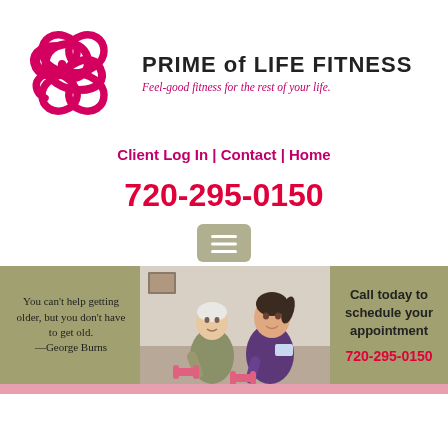[Figure (logo): Prime of Life Fitness logo: pink interlocking infinity knot symbol with brand name and tagline]
Client Log In | Contact | Home
720-295-0150
[Figure (other): Hamburger menu button icon]
[Figure (photo): Elderly person exercising with pink dumbbells alongside a younger fitness trainer]
You can't help getting older, but you don't have to get old. —George Burns
Call today to schedule your appointment
720-295-0150